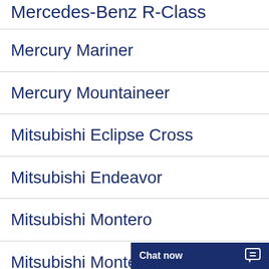Mercedes-Benz R-Class
Mercury Mariner
Mercury Mountaineer
Mitsubishi Eclipse Cross
Mitsubishi Endeavor
Mitsubishi Montero
Mitsubishi Montero Sport
Mitsubishi...